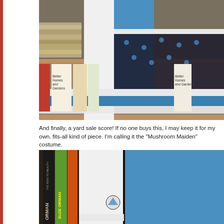[Figure (photo): Close-up photo of a costume (Mushroom Maiden) with black and blue patterned skirt with white ruffled trim, worn in front of a bookshelf with multiple 'Better Homes and Gardens' books visible]
And finally, a yard sale score! If no one buys this, I may keep it for my own. fits-all kind of piece. I'm calling it the "Mushroom Maiden" costume.
[Figure (photo): Second photo of the same Mushroom Maiden costume from a different angle, showing a white ruffled apron over a blue dress with black trim, in front of a bookshelf with Suze Orman 'The Road to Wealth' and other books]